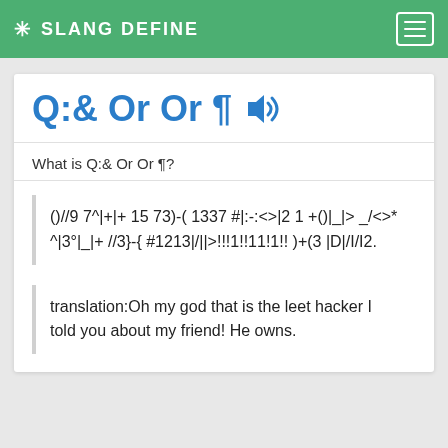✳ SLANG DEFINE
Q:& Or Or ¶ 🔊
What is Q:& Or Or ¶?
()//9 7^|+|+ 15 73)-( 1337 #|:-:<>|2 1 +()|_|> _/<>* ^|3°|_|+ //3}-{ #1213|/||>!!!1!!11!1!! )+(3 |D|/I/I2.
translation:Oh my god that is the leet hacker I told you about my friend! He owns.